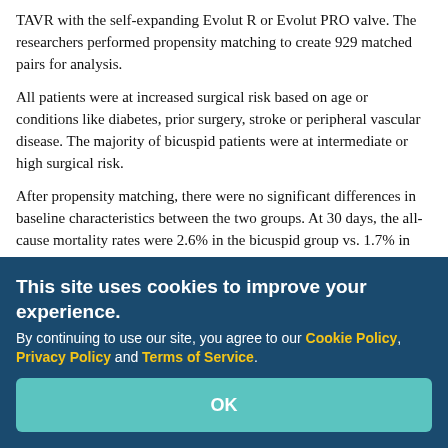TAVR with the self-expanding Evolut R or Evolut PRO valve. The researchers performed propensity matching to create 929 matched pairs for analysis.
All patients were at increased surgical risk based on age or conditions like diabetes, prior surgery, stroke or peripheral vascular disease. The majority of bicuspid patients were at intermediate or high surgical risk.
After propensity matching, there were no significant differences in baseline characteristics between the two groups. At 30 days, the all-cause mortality rates were 2.6% in the bicuspid group vs. 1.7% in the tricuspid group. The one-year mortality rates were 10.4% and 12.1% for the bicuspid and tricuspid groups, respectively.
Stroke rates were comparable between the two groups at 30 days (3.4% for bicuspid patients vs. 2.7% for tricuspid patients) and one year (5% for bicuspid patients vs. 4% for tricuspid patients). There were no significant differences between the two groups in other secondary outcomes, including pacemaker implantation, major vascular complications or length of stay.
This site uses cookies to improve your experience. By continuing to use our site, you agree to our Cookie Policy, Privacy Policy and Terms of Service.